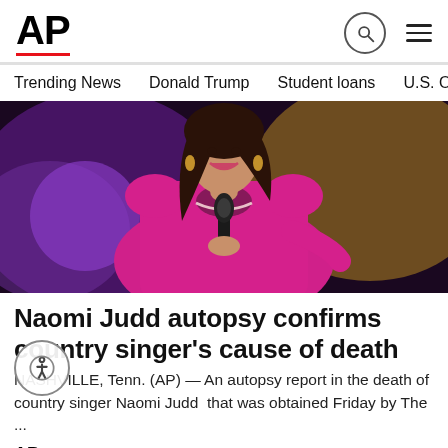AP
Trending News
Donald Trump
Student loans
U.S. Open Tenn
[Figure (photo): Woman in bright pink/magenta satin blazer singing into a microphone on stage, smiling, with colorful stage lighting in background]
Naomi Judd autopsy confirms country singer's cause of death
NASHVILLE, Tenn. (AP) — An autopsy report in the death of country singer Naomi Judd  that was obtained Friday by The ...
AP  2 days ago